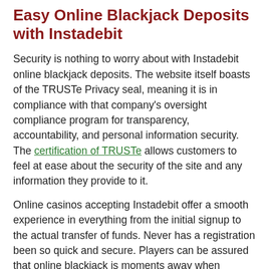Easy Online Blackjack Deposits with Instadebit
Security is nothing to worry about with Instadebit online blackjack deposits. The website itself boasts of the TRUSTe Privacy seal, meaning it is in compliance with that company's oversight compliance program for transparency, accountability, and personal information security. The certification of TRUSTe allows customers to feel at ease about the security of the site and any information they provide to it.
Online casinos accepting Instadebit offer a smooth experience in everything from the initial signup to the actual transfer of funds. Never has a registration been so quick and secure. Players can be assured that online blackjack is moments away when Instadebit is used for the processing of funds as a deposit to an online casino account. Register, transfer funds, and hit those online blackjack tables before the dealer has time to reshuffle that deck.
Our list of the best online blackjack casinos accepting Instadebit lets you get to the heart fo the action. All of our sites are rigorously tested and score highly on a wide variety of criteria. So all you need to do is sign up and play.